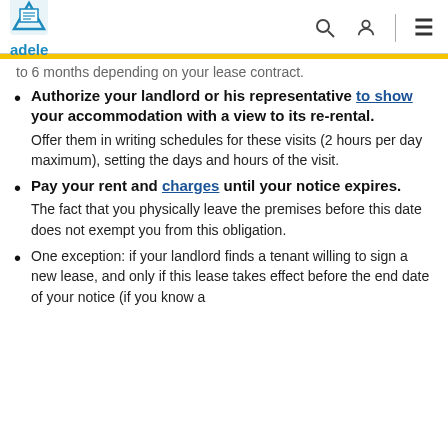adele
to 6 months depending on your lease contract
Authorize your landlord or his representative to show your accommodation with a view to its re-rental. Offer them in writing schedules for these visits (2 hours per day maximum), setting the days and hours of the visit.
Pay your rent and charges until your notice expires. The fact that you physically leave the premises before this date does not exempt you from this obligation.
One exception: if your landlord finds a tenant willing to sign a new lease, and only if this lease takes effect before the end date of your notice (if you know a